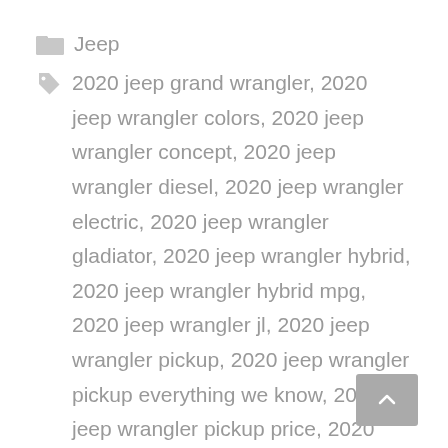Jeep
2020 jeep grand wrangler, 2020 jeep wrangler colors, 2020 jeep wrangler concept, 2020 jeep wrangler diesel, 2020 jeep wrangler electric, 2020 jeep wrangler gladiator, 2020 jeep wrangler hybrid, 2020 jeep wrangler hybrid mpg, 2020 jeep wrangler jl, 2020 jeep wrangler pickup, 2020 jeep wrangler pickup everything we know, 2020 jeep wrangler pickup price, 2020 jeep wrangler pickup truck, 2020 jeep wrangler plug in hybrid, 2020 jeep wrangler release date, 2020 jeep wrangler rubicon, 2020 jeep wrangler sahara, 2020 jeep wrangler specs, 2020 jeep wrangler truck, 2020 jeep wrangler truck price, 2020 jeep wrangler